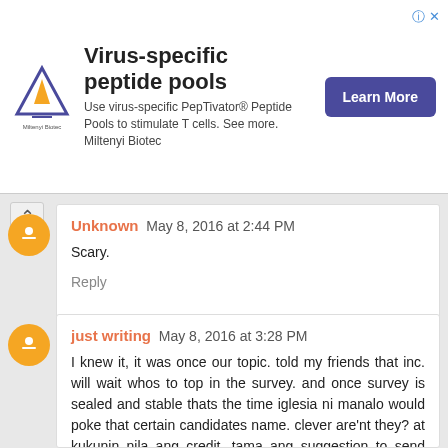[Figure (infographic): Advertisement banner for Miltenyi Biotec virus-specific peptide pools with logo, heading, description text, and Learn More button]
Unknown May 8, 2016 at 2:44 PM
Scary.
Reply
just writing May 8, 2016 at 3:28 PM
I knew it, it was once our topic. told my friends that inc. will wait whos to top in the survey. and once survey is sealed and stable thats the time iglesia ni manalo would poke that certain candidates name. clever are'nt they? at kukunin nila ang credit. tama ang suggestion to send one from their cult to prove that their cult could make it to the palace. ang sarap nun, magkakaalaman pag nagkataon.
GOD ALMIGHTY HAS THE POWER NOT THE inc